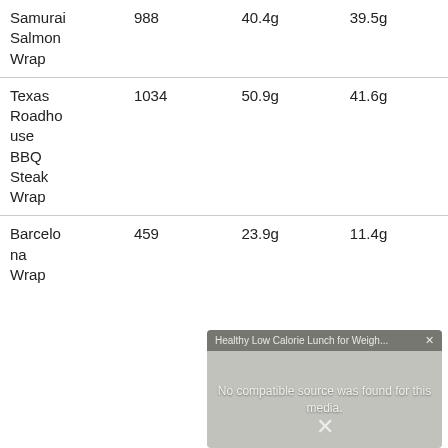| Samurai Salmon Wrap | 988 | 40.4g | 39.5g |
| Texas Roadhouse BBQ Steak Wrap | 1034 | 50.9g | 41.6g |
| Barcelona Wrap | 459 | 23.9g | 11.4g |
[Figure (screenshot): Video overlay showing 'Healthy Low Calorie Lunch for Weigh...' with message 'No compatible source was found for this media.' and a close button.]